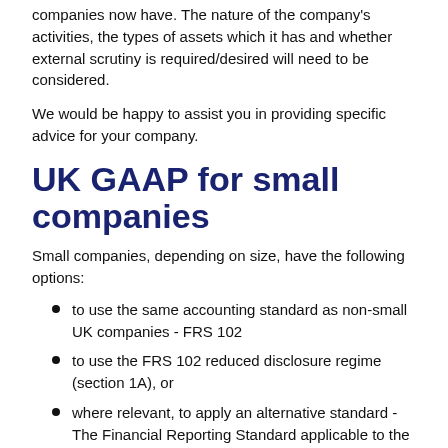companies now have. The nature of the company's activities, the types of assets which it has and whether external scrutiny is required/desired will need to be considered.
We would be happy to assist you in providing specific advice for your company.
UK GAAP for small companies
Small companies, depending on size, have the following options:
to use the same accounting standard as non-small UK companies - FRS 102
to use the FRS 102 reduced disclosure regime (section 1A), or
where relevant, to apply an alternative standard - The Financial Reporting Standard applicable to the Micro-entities - FRS 105.